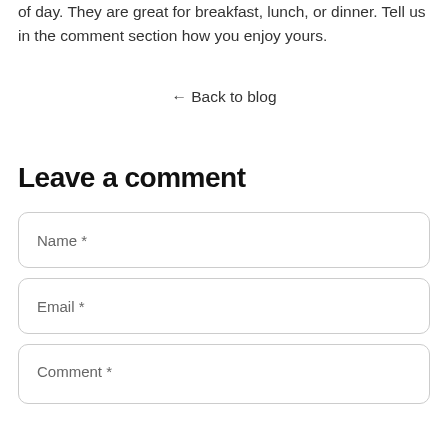of day. They are great for breakfast, lunch, or dinner. Tell us in the comment section how you enjoy yours.
← Back to blog
Leave a comment
Name *
Email *
Comment *